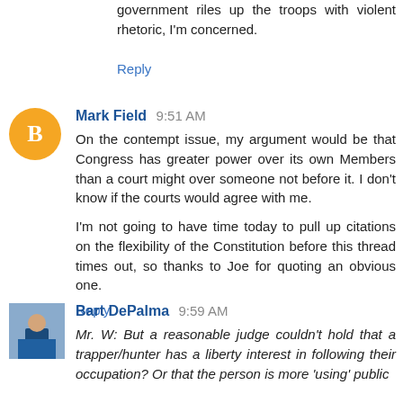government riles up the troops with violent rhetoric, I'm concerned.
Reply
Mark Field 9:51 AM
On the contempt issue, my argument would be that Congress has greater power over its own Members than a court might over someone not before it. I don't know if the courts would agree with me.

I'm not going to have time today to pull up citations on the flexibility of the Constitution before this thread times out, so thanks to Joe for quoting an obvious one.
Reply
Bart DePalma 9:59 AM
Mr. W: But a reasonable judge couldn't hold that a trapper/hunter has a liberty interest in following their occupation? Or that the person is more 'using' public